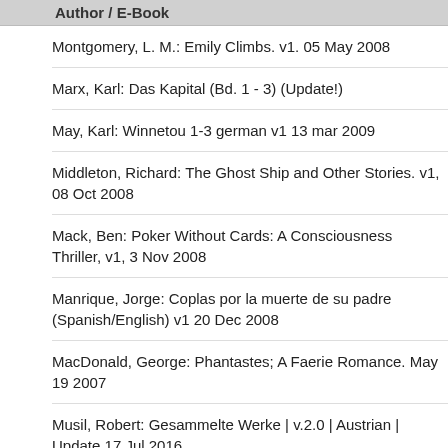Author / E-Book
Montgomery, L. M.: Emily Climbs. v1. 05 May 2008
Marx, Karl: Das Kapital (Bd. 1 - 3) (Update!)
May, Karl: Winnetou 1-3 german v1 13 mar 2009
Middleton, Richard: The Ghost Ship and Other Stories. v1, 08 Oct 2008
Mack, Ben: Poker Without Cards: A Consciousness Thriller, v1, 3 Nov 2008
Manrique, Jorge: Coplas por la muerte de su padre (Spanish/English) v1 20 Dec 2008
MacDonald, George: Phantastes; A Faerie Romance. May 19 2007
Musil, Robert: Gesammelte Werke | v.2.0 | Austrian | Update 17 Jul 2016
May, Karl: Old Surehand 2 german v2 18 mar 2009
May, Karl: Der Schatz im Silbersee german v1 21 may 2009